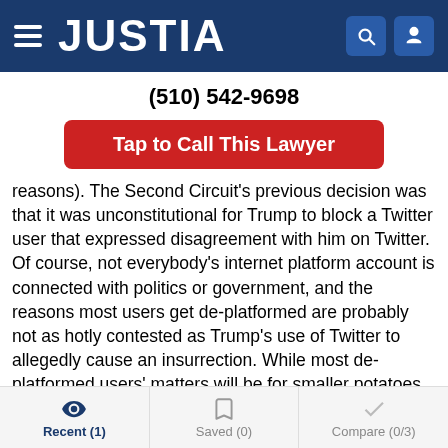JUSTIA
(510) 542-9698
Tap to Call This Lawyer
reasons). The Second Circuit's previous decision was that it was unconstitutional for Trump to block a Twitter user that expressed disagreement with him on Twitter. Of course, not everybody's internet platform account is connected with politics or government, and the reasons most users get de-platformed are probably not as hotly contested as Trump's use of Twitter to allegedly cause an insurrection. While most de-platformed users' matters will be for smaller potatoes, the Trump Twitter-ban and Thomas concurrence is an example of what is top of mind regarding the issue of online content moderation and de-platforming today. It demonstrates how confused and divided America seems to be over the issue currently, and the extremely divisive nature of discussions
Recent (1)  Saved (0)  Compare (0/3)